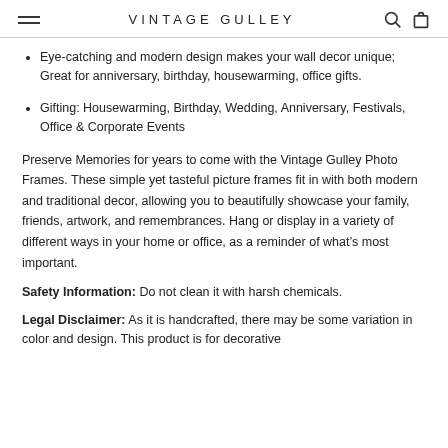VINTAGE GULLEY
Eye-catching and modern design makes your wall decor unique; Great for anniversary, birthday, housewarming, office gifts.
Gifting: Housewarming, Birthday, Wedding, Anniversary, Festivals, Office & Corporate Events
Preserve Memories for years to come with the Vintage Gulley Photo Frames. These simple yet tasteful picture frames fit in with both modern and traditional decor, allowing you to beautifully showcase your family, friends, artwork, and remembrances. Hang or display in a variety of different ways in your home or office, as a reminder of what’s most important.
Safety Information: Do not clean it with harsh chemicals.
Legal Disclaimer: As it is handcrafted, there may be some variation in color and design. This product is for decorative